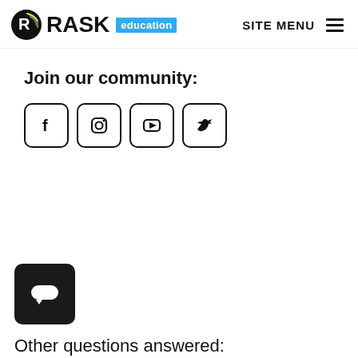RASK education | SITE MENU
Join our community:
[Figure (other): Social media icon buttons: Facebook, Instagram, YouTube, Twitter]
[Figure (other): Chat widget with speech bubble icon]
Other questions answered: